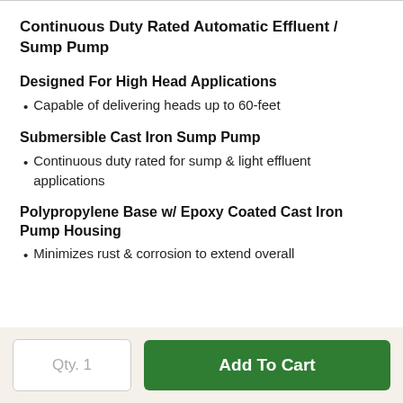Continuous Duty Rated Automatic Effluent / Sump Pump
Designed For High Head Applications
Capable of delivering heads up to 60-feet
Submersible Cast Iron Sump Pump
Continuous duty rated for sump & light effluent applications
Polypropylene Base w/ Epoxy Coated Cast Iron Pump Housing
Minimizes rust & corrosion to extend overall
Qty. 1
Add To Cart